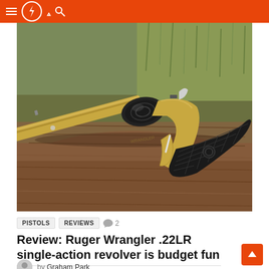RECOIL WEB navigation header with hamburger menu, logo bolt, crescent icon, and search icon
[Figure (photo): A gold/bronze finish Ruger Wrangler .22LR single-action revolver with black cylinder and black checkered grip, resting on a weathered wooden log, with dry grass and earth visible in the background.]
PISTOLS   REVIEWS   2
Review: Ruger Wrangler .22LR single-action revolver is budget fun
by Graham Park